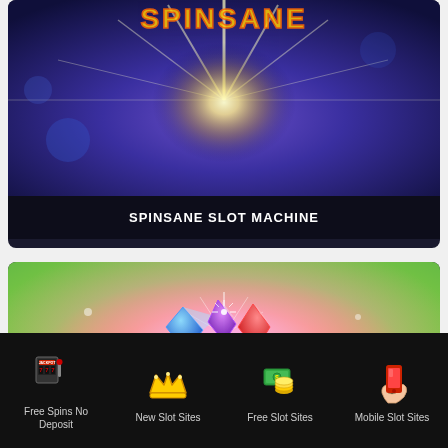[Figure (screenshot): Spinsane slot machine game card with dark blue background and bright star burst light effect. Title 'SPINSANE SLOT MACHINE' shown at bottom in white on dark background.]
[Figure (screenshot): Starburst slot machine game card with colorful yellow-green-pink gradient background featuring the Starburst logo with gem star shapes and the text STARBURST in orange/gold stylized font.]
Free Spins No Deposit | New Slot Sites | Free Slot Sites | Mobile Slot Sites